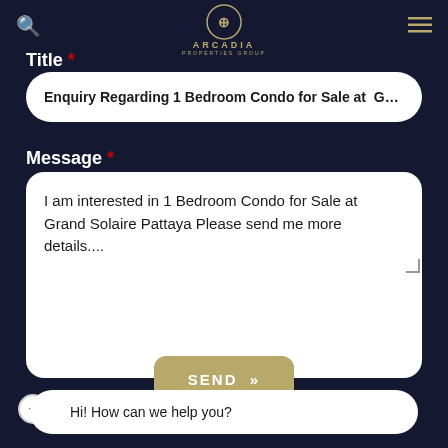[Figure (logo): Arcadia Properties Group circular logo with AP monogram in gold on dark navy background, with search icon and hamburger menu]
Title *
Enquiry Regarding 1 Bedroom Condo for Sale at Grand
Message *
I am interested in 1 Bedroom Condo for Sale at Grand Solaire Pattaya Please send me more details....
SEND »
Hi! How can we help you?